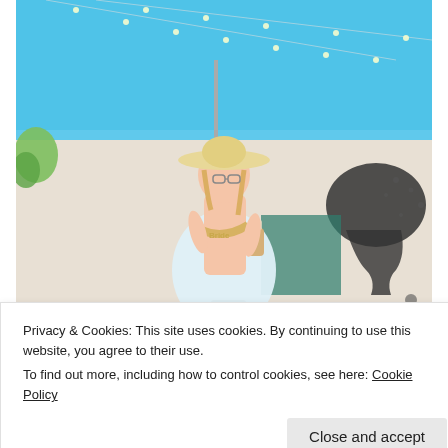[Figure (photo): Young woman with glasses and a wide-brim straw hat, wearing a white halter dress and a sash reading 'Bride', holding an iced coffee drink, standing in front of a building with a large black and white drip mural art and string lights overhead, sunny blue sky]
Privacy & Cookies: This site uses cookies. By continuing to use this website, you agree to their use.
To find out more, including how to control cookies, see here: Cookie Policy
Close and accept
[Figure (photo): Partial view of a person standing on green grass, lower portion only visible]